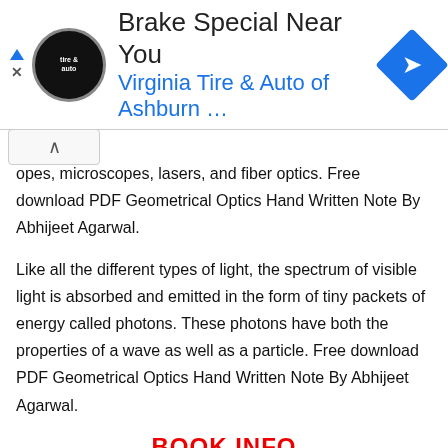[Figure (other): Advertisement banner: Brake Special Near You – Virginia Tire & Auto of Ashburn...]
opes, microscopes, lasers, and fiber optics. Free download PDF Geometrical Optics Hand Written Note By Abhijeet Agarwal.
Like all the different types of light, the spectrum of visible light is absorbed and emitted in the form of tiny packets of energy called photons. These photons have both the properties of a wave as well as a particle. Free download PDF Geometrical Optics Hand Written Note By Abhijeet Agarwal.
BOOK INFO
BOOK NAME – GEOMETRICAL OPTICS HAND WRITTEN NOTE
AUTHOR – ABHIJEET AGARWAL
SIZE – 35MB